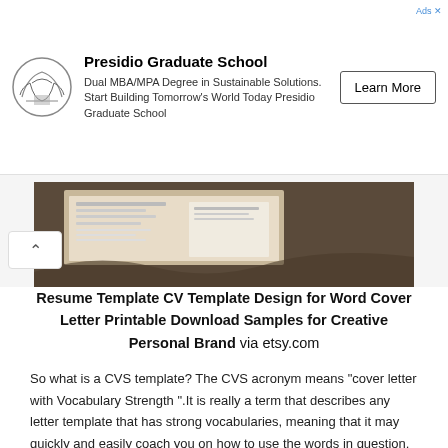[Figure (infographic): Advertisement banner for Presidio Graduate School with circular logo, description text, and Learn More button]
[Figure (photo): Product image showing resume/CV template design on a dark background, partially visible with a back-navigation chevron button]
Resume Template CV Template Design for Word Cover Letter Printable Download Samples for Creative Personal Brand via etsy.com
So what is a CVS template? The CVS acronym means “cover letter with Vocabulary Strength “.It is really a term that describes any letter template that has strong vocabularies, meaning that it may quickly and easily coach you on how to use the words in question.
Dawson Resume Template Helping You Save Time & Get The Dream Job You Deserve Instant